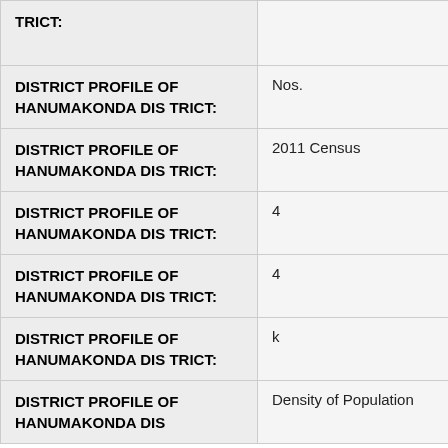| Key | Value |
| --- | --- |
| DISTRICT PROFILE OF HANUMAKONDA DISTRICT: |  |
| DISTRICT PROFILE OF HANUMAKONDA DISTRICT: | Nos. |
| DISTRICT PROFILE OF HANUMAKONDA DISTRICT: | 2011 Census |
| DISTRICT PROFILE OF HANUMAKONDA DISTRICT: | 4 |
| DISTRICT PROFILE OF HANUMAKONDA DISTRICT: | 4 |
| DISTRICT PROFILE OF HANUMAKONDA DISTRICT: | k |
| DISTRICT PROFILE OF HANUMAKONDA DISTRICT: | Density of Population |